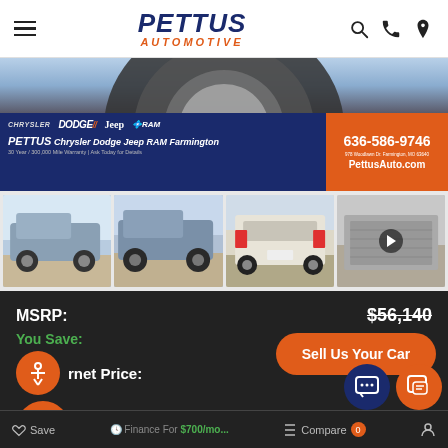PETTUS AUTOMOTIVE — navigation header with hamburger menu, logo, search/phone/location icons
[Figure (photo): Pettus Chrysler Dodge Jeep RAM Farmington dealership banner ad showing vehicle tire, brand logos (Chrysler, Dodge, Jeep, RAM), dealer name, 30 Year/300,000 Mile Warranty, phone 636-586-9746, address 978 Woodlawn Dr. Farmington MO 63640, PettusAuto.com]
[Figure (photo): Row of 4 thumbnail photos of a gray Jeep Gladiator truck — front 3/4 view, rear 3/4 view, rear view, bed view — with a play button overlay on the last thumbnail]
MSRP: $56,140
You Save:
Internet Price:
Sell Us Your Car
Finance For: $700/mo...